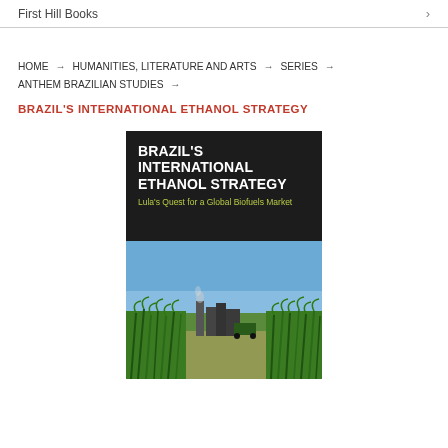First Hill Books
HOME → HUMANITIES, LITERATURE AND ARTS → SERIES → ANTHEM BRAZILIAN STUDIES →
BRAZIL'S INTERNATIONAL ETHANOL STRATEGY
[Figure (photo): Book cover of 'Brazil's International Ethanol Strategy: Lula's Quest for a Global Biofuels Market'. Top half has dark background with white bold title text and olive/yellow subtitle. Bottom half shows a photograph of a sugarcane field with industrial equipment and blue sky.]